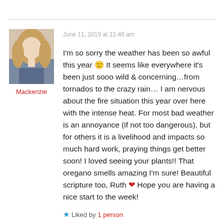[Figure (photo): Profile photo of a young blonde woman]
Mackenzie
June 11, 2019 at 11:48 am
I'm so sorry the weather has been so awful this year 🙁 It seems like everywhere it's been just sooo wild & concerning…from tornados to the crazy rain… I am nervous about the fire situation this year over here with the intense heat. For most bad weather is an annoyance (if not too dangerous), but for others it is a livelihood and impacts so much hard work, praying things get better soon! I loved seeing your plants!! That oregano smells amazing I'm sure! Beautiful scripture too, Ruth ❤ Hope you are having a nice start to the week!
★ Liked by 1 person